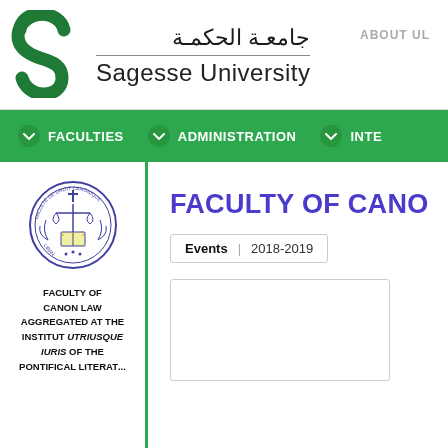[Figure (logo): Sagesse University green S-shaped logo]
جامعة الحكمة
Sagesse University
ABOUT UL
[Figure (infographic): Green navigation bar with FACULTIES, ADMINISTRATION, INTE menu items]
[Figure (logo): Faculty of Canon Law circular emblem with scales of justice]
FACULTY OF CANON LAW AGGREGATED AT THE INSTITUT UTRIUSQUE IURIS OF THE PONTIFICAL LITERAT...
FACULTY OF CANO
Events  |  2018-2019